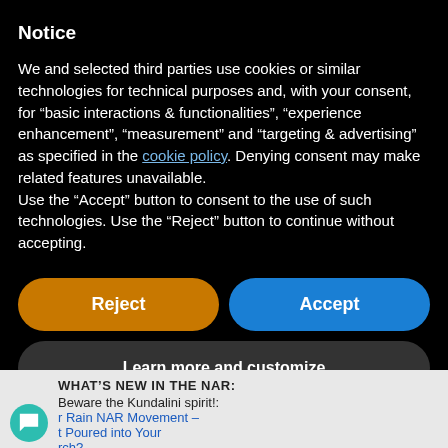Notice
We and selected third parties use cookies or similar technologies for technical purposes and, with your consent, for “basic interactions & functionalities”, “experience enhancement”, “measurement” and “targeting & advertising” as specified in the cookie policy. Denying consent may make related features unavailable.
Use the “Accept” button to consent to the use of such technologies. Use the “Reject” button to continue without accepting.
[Figure (screenshot): Two buttons side by side: orange 'Reject' button on the left, blue 'Accept' button on the right]
[Figure (screenshot): Dark grey rounded button labeled 'Learn more and customize']
WHAT'S NEW IN THE NAR:
Beware the Kundalini spirit!:
r Rain NAR Movement –
t Poured into Your
rch?